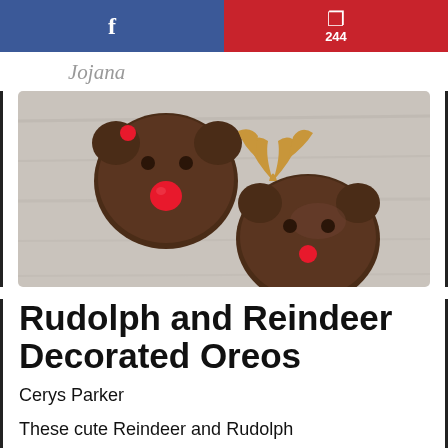f   p 244
[Figure (logo): Cursive script logo/wordmark in gray]
[Figure (photo): Photo of two chocolate-covered Oreo cookies decorated as reindeer, with pretzel antlers and red M&M noses, on a gray wooden surface]
Rudolph and Reindeer Decorated Oreos
Cerys Parker
These cute Reindeer and Rudolph Oreos are easy to put together and ideal for Kids Christmas Parties. With